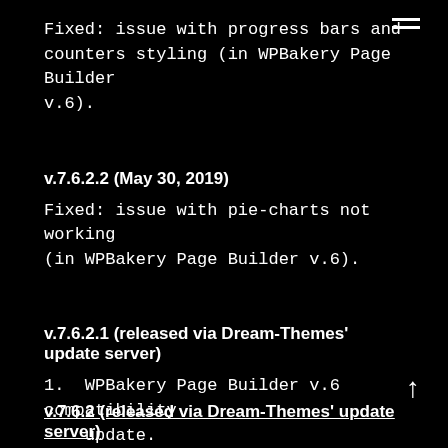Fixed: issue with progress bars and counters styling (in WPBakery Page Builder v.6).
v.7.6.2.2 (May 30, 2019)
Fixed: issue with pie-charts not working (in WPBakery Page Builder v.6).
v.7.6.2.1 (released via Dream-Themes' update server)
1. WPBakery Page Builder v.6 compatibility update.
2. Fixed: issue with progress bars not working
v.7.6.2 (released via Dream-Themes' update server)